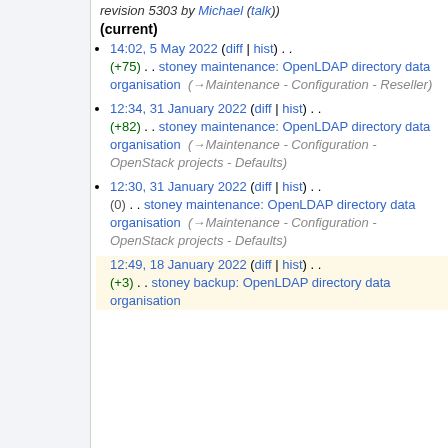revision 5303 by Michael (talk)) (current)
14:02, 5 May 2022 (diff | hist) . . (+75) . . stoney maintenance: OpenLDAP directory data organisation (→Maintenance - Configuration - Reseller)
12:34, 31 January 2022 (diff | hist) . . (+82) . . stoney maintenance: OpenLDAP directory data organisation (→Maintenance - Configuration - OpenStack projects - Defaults)
12:30, 31 January 2022 (diff | hist) . . (0) . . stoney maintenance: OpenLDAP directory data organisation (→Maintenance - Configuration - OpenStack projects - Defaults)
12:49, 18 January 2022 (diff | hist) . . (+3) . . stoney backup: OpenLDAP directory data organisation